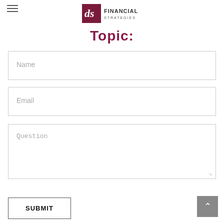DS Financial Strategies
Topic:
Name
Email
Question
SUBMIT